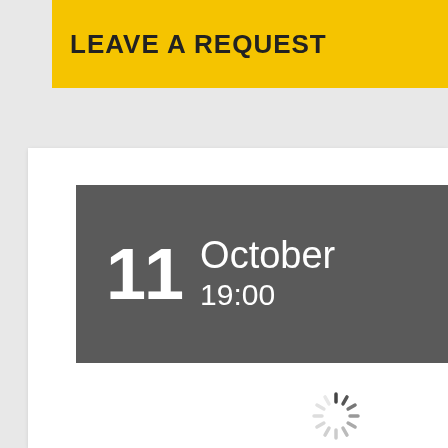LEAVE A REQUEST
11 October 19:00
[Figure (other): Loading spinner icon (circular dashed spinner in gray)]